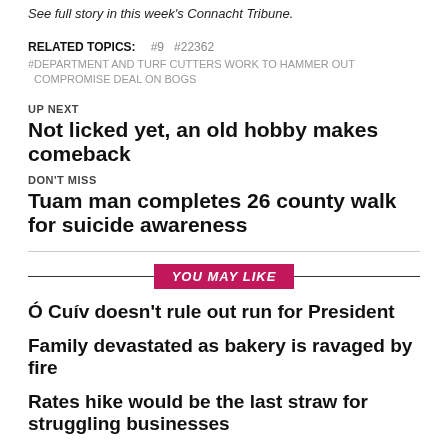See full story in this week's Connacht Tribune.
RELATED TOPICS:  #9  #22362
#DEPARTMENT AND TURF CUTTERS WORK TO HAMMER OUT COMPROMISE DEAL ON BOGS
UP NEXT
Not licked yet, an old hobby makes comeback
DON'T MISS
Tuam man completes 26 county walk for suicide awareness
YOU MAY LIKE
Ó Cuív doesn't rule out run for President
Family devastated as bakery is ravaged by fire
Rates hike would be the last straw for struggling businesses